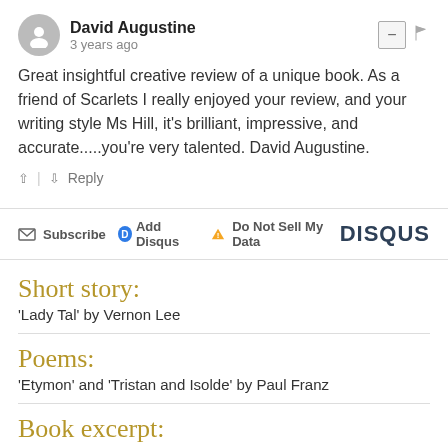David Augustine
3 years ago
Great insightful creative review of a unique book. As a friend of Scarlets I really enjoyed your review, and your writing style Ms Hill, it's brilliant, impressive, and accurate.....you're very talented. David Augustine.
↑ | ↓  Reply
Subscribe  Add Disqus  Do Not Sell My Data  DISQUS
Short story:
'Lady Tal' by Vernon Lee
Poems:
'Etymon' and 'Tristan and Isolde' by Paul Franz
Book excerpt:
'The Waves' by Virginia Woolf